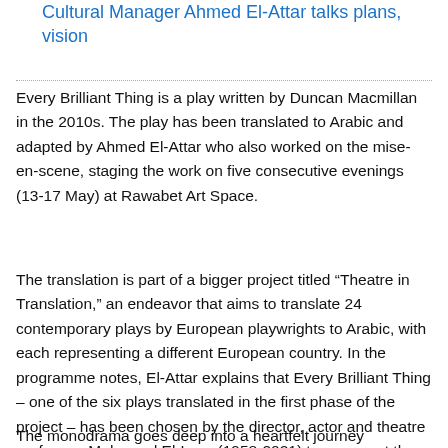Cultural Manager Ahmed El-Attar talks plans, vision
Every Brilliant Thing is a play written by Duncan Macmillan in the 2010s. The play has been translated to Arabic and adapted by Ahmed El-Attar who also worked on the mise-en-scene, staging the work on five consecutive evenings (13-17 May) at Rawabet Art Space.
The translation is part of a bigger project titled “Theatre in Translation,” an endeavor that aims to translate 24 contemporary plays by European playwrights to Arabic, with each representing a different European country. In the programme notes, El-Attar explains that Every Brilliant Thing – one of the six plays translated in the first phase of the project – has been chosen by the director, actor and theatre professor, Mahmoud El-Lozy (1958-2021) to represent the UK. El-Attar referred to El-Lozy as “my teacher,” dedicating the performance to him.
The monodrama goes deep into a heartfelt journey